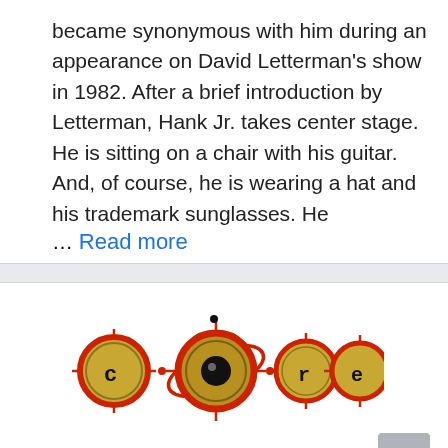became synonymous with him during an appearance on David Letterman's show in 1982. After a brief introduction by Letterman, Hank Jr. takes center stage. He is sitting on a chair with his guitar. And, of course, he is wearing a hat and his trademark sunglasses. He … Read more
[Figure (logo): C.O.R.E logo — four target/crosshair circles with letters c, o, r, e in gold, red and black, with an orbital ring around the central 'o' eye]
Question & Answer